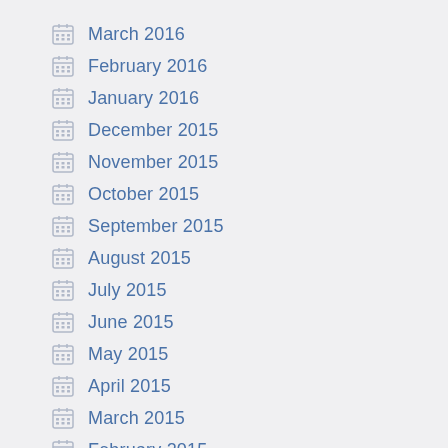March 2016
February 2016
January 2016
December 2015
November 2015
October 2015
September 2015
August 2015
July 2015
June 2015
May 2015
April 2015
March 2015
February 2015